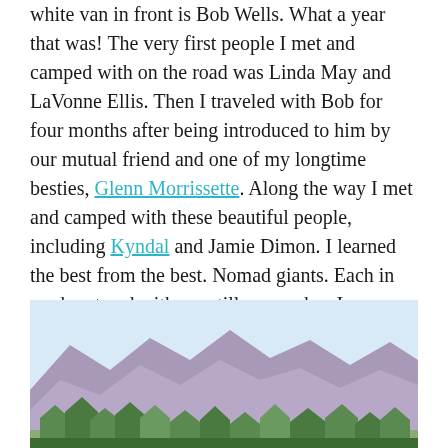white van in front is Bob Wells. What a year that was! The very first people I met and camped with on the road was Linda May and LaVonne Ellis. Then I traveled with Bob for four months after being introduced to him by our mutual friend and one of my longtime besties, Glenn Morrissette. Along the way I met and camped with these beautiful people, including Kyndal and Jamie Dimon. I learned the best from the best. Nomad giants. Each in my heart and with me still, every day. I am blessed and so grateful. 🙏 I will be posting an article today on our Two Meander website about this community and our nomad family. I love you all. ❤️"
[Figure (photo): Landscape photo showing purple/brown mountain ridges in the background with green trees and desert scrub in the foreground, under a light blue sky.]